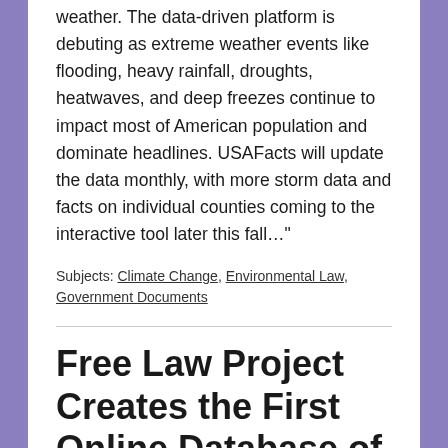weather. The data-driven platform is debuting as extreme weather events like flooding, heavy rainfall, droughts, heatwaves, and deep freezes continue to impact most of American population and dominate headlines. USAFacts will update the data monthly, with more storm data and facts on individual counties coming to the interactive tool later this fall…"
Subjects: Climate Change, Environmental Law, Government Documents
Free Law Project Creates the First Online Database of Federal Judicial Opinions